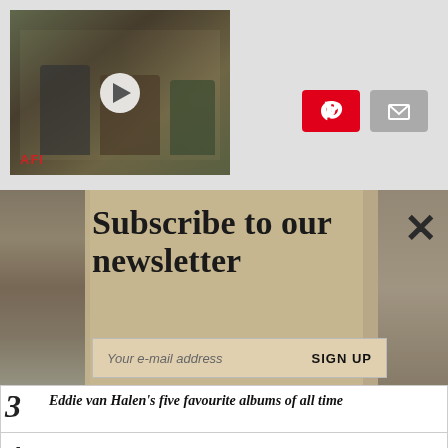[Figure (screenshot): Video thumbnail showing old film footage with AFI logo and play button overlay, with Pinterest and email share buttons]
Subscribe to our newsletter
Your e-mail address   SIGN UP
3  Eddie van Halen's five favourite albums of all time
4  The five bands Lou Reed hated most
5  The Heart hit that was inspired by an intra-band romance